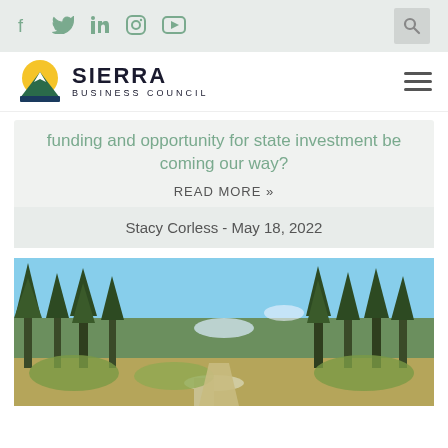Social media icons: Facebook, Twitter, LinkedIn, Instagram, YouTube; Search button
[Figure (logo): Sierra Business Council logo with mountain/sun graphic and text SIERRA BUSINESS COUNCIL]
funding and opportunity for state investment be coming our way?
READ MORE »
Stacy Corless  -  May 18, 2022
[Figure (photo): Forest landscape with pine trees, meadow, and a path under blue sky with snow visible]